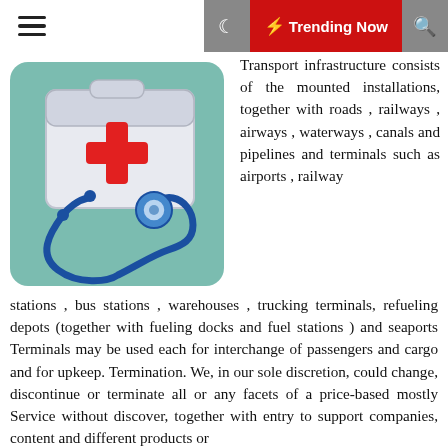☰  🌙  ⚡ Trending Now  🔍
[Figure (illustration): Illustration of a white medical first-aid kit with a red cross symbol, wrapped with a blue stethoscope, on a teal background]
Transport infrastructure consists of the mounted installations, together with roads , railways , airways , waterways , canals and pipelines and terminals such as airports , railway stations , bus stations , warehouses , trucking terminals, refueling depots (together with fueling docks and fuel stations ) and seaports Terminals may be used each for interchange of passengers and cargo and for upkeep. Termination. We, in our sole discretion, could change, discontinue or terminate all or any facets of a price-based mostly Service without discover, together with entry to support companies, content and different products or